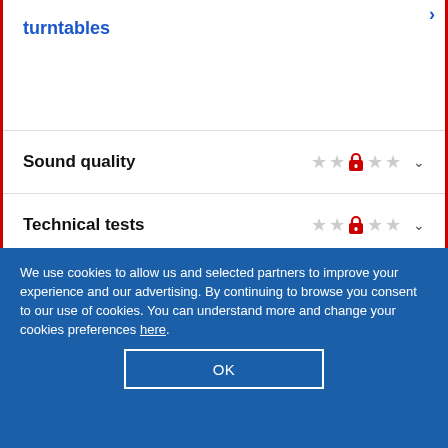turntables
Sound quality
Technical tests
Ease of use
Maintenance
We use cookies to allow us and selected partners to improve your experience and our advertising. By continuing to browse you consent to our use of cookies. You can understand more and change your cookies preferences here.